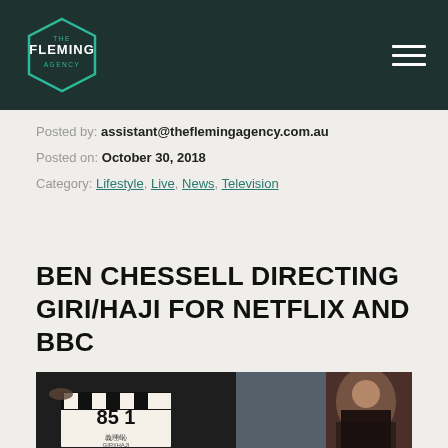The Fleming Agency — navigation header with logo and hamburger menu
Posted by: assistant@theflemingagency.com.au
Posted on: October 30, 2018
Category: Lifestyle, Live, News, Television
BEN CHESSELL DIRECTING GIRI/HAJI FOR NETFLIX AND BBC
[Figure (photo): On-set photo showing a clapperboard with '85 1' and text GIRI/HAJI visible, with a person in the background]